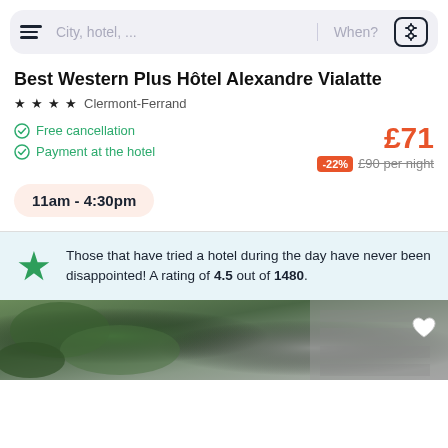City, hotel, ...   When?
Best Western Plus Hôtel Alexandre Vialatte
★★★★ Clermont-Ferrand
Free cancellation
Payment at the hotel
£71
-22% £90 per night
11am - 4:30pm
Those that have tried a hotel during the day have never been disappointed! A rating of 4.5 out of 1480.
[Figure (photo): Hotel exterior photo showing ivy-covered wall and stone building]